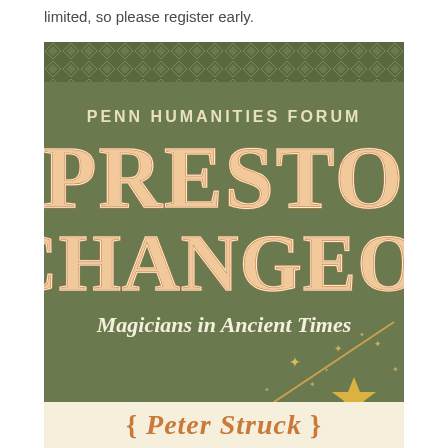limited, so please register early.
[Figure (illustration): Penn Humanities Forum promotional poster for 'Presto Changeo! Magicians in Ancient Times' event, featuring decorative vintage circus-style typography in orange/cream on an olive green background with diamond pattern border and gold star wand decoration at bottom.]
{ Peter Struck }